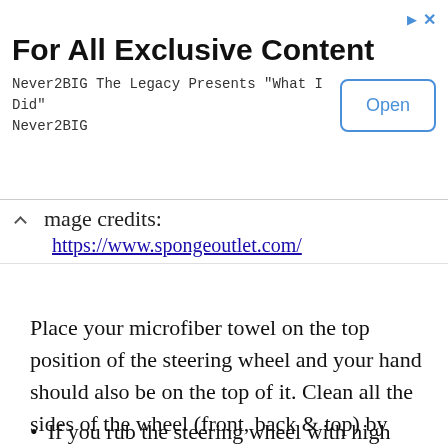[Figure (other): Advertisement banner: 'For All Exclusive Content' with Open button, Never2BIG The Legacy Presents 'What I Did' Never2BIG]
mage credits:
https://www.spongeoutlet.com/
Place your microfiber towel on the top position of the steering wheel and your hand should also be on the top of it. Clean all the sides of the wheel (front, back & top) by turning the towel on the steering with a soft hand. Clean all the points of the circumference of the wheel so that no dirt remains after the work.
If you rub the steering wheel with high